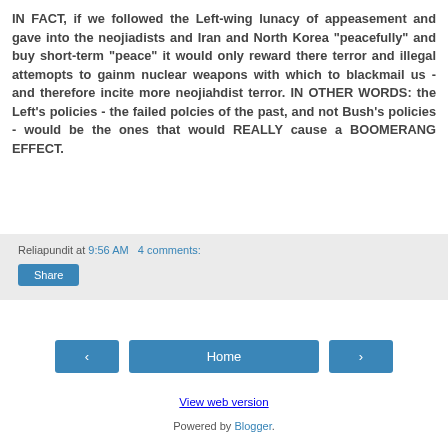IN FACT, if we followed the Left-wing lunacy of appeasement and gave into the neojiadists and Iran and North Korea "peacefully" and buy short-term "peace" it would only reward there terror and illegal attemopts to gainm nuclear weapons with which to blackmail us - and therefore incite more neojiahdist terror. IN OTHER WORDS: the Left's policies - the failed polcies of the past, and not Bush's policies - would be the ones that would REALLY cause a BOOMERANG EFFECT.
Reliapundit at 9:56 AM   4 comments:
Share
Home
View web version
Powered by Blogger.